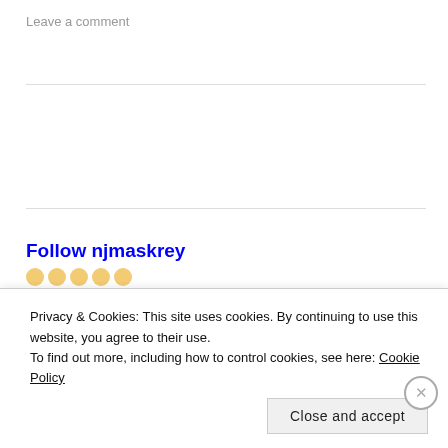Leave a comment
Follow njmaskrey
RECENT POSTS
Privacy & Cookies: This site uses cookies. By continuing to use this website, you agree to their use.
To find out more, including how to control cookies, see here: Cookie Policy
Close and accept